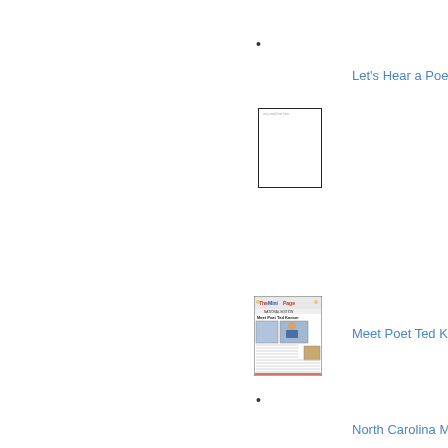•
Let's Hear a Poem
[Figure (other): Small thumbnail image of a document page with faint text, shown in a black border box]
[Figure (other): Thumbnail of 'The Mini Page' newspaper featuring 'Meet Poet Ted Kooser' with colorful header and article text and images]
Meet Poet Ted Ko...
•
North Carolina M...